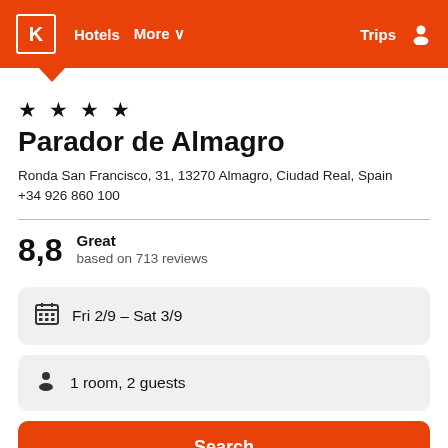K  Hotels  More  Trips
★ ★ ★ ★
Parador de Almagro
Ronda San Francisco, 31, 13270 Almagro, Ciudad Real, Spain
+34 926 860 100
8,8  Great  based on 713 reviews
Fri 2/9  –  Sat 3/9
1 room, 2 guests
Search